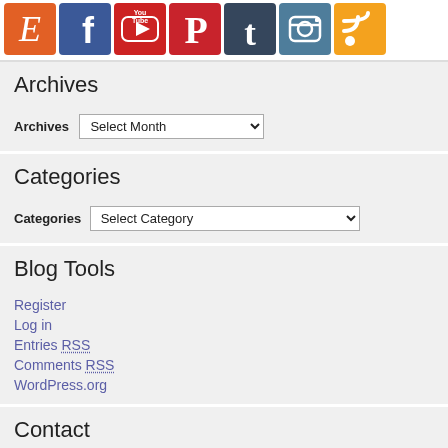[Figure (illustration): Row of social media icon buttons: Etsy (orange E), Facebook (blue f), YouTube (red play button), Pinterest (red P), Tumblr (dark blue t), Instagram (teal camera), RSS (orange wifi/feed symbol)]
Archives
Archives  Select Month
Categories
Categories  Select Category
Blog Tools
Register
Log in
Entries RSS
Comments RSS
WordPress.org
Contact
If you have a question, please check our extensive Frequently Asked Questions section as you might find the answer you're seeking—plus lots more!